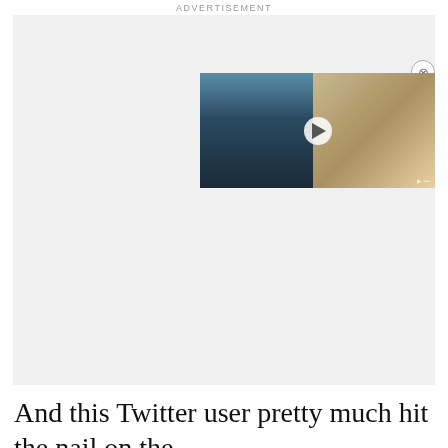ADVERTISEMENT
[Figure (screenshot): A video player overlay showing anime characters — a blue-haired character on the left panel and a tan/golden character on the right — with a circular play button in the center, a close (X) button in the top right corner.]
And this Twitter user pretty much hit the nail on the